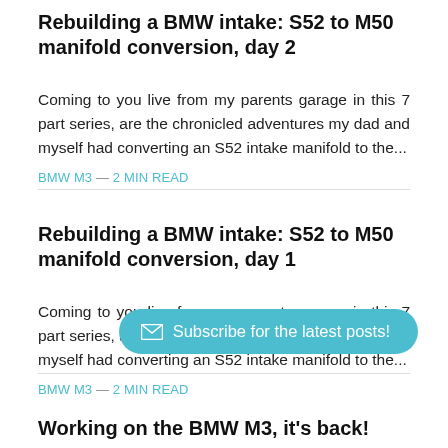Rebuilding a BMW intake: S52 to M50 manifold conversion, day 2
Coming to you live from my parents garage in this 7 part series, are the chronicled adventures my dad and myself had converting an S52 intake manifold to the...
BMW M3 — 2 MIN READ
Rebuilding a BMW intake: S52 to M50 manifold conversion, day 1
Coming to you live from my parents garage in this 7 part series, are the chronicled adventures my dad and myself had converting an S52 intake manifold to the...
BMW M3 — 2 MIN READ
[Figure (other): Subscribe for the latest posts! button]
Working on the BMW M3, it's back!